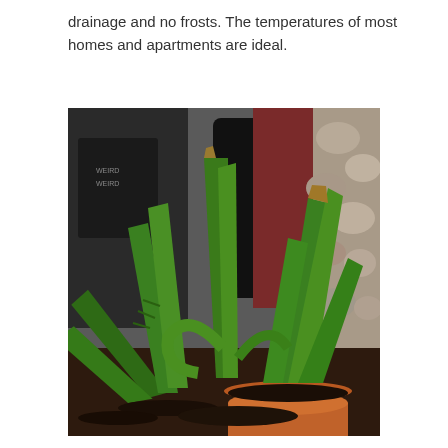drainage and no frosts. The temperatures of most homes and apartments are ideal.
[Figure (photo): An aloe vera plant with long, spiky green succulent leaves growing in a terracotta pot filled with dark soil. The plant is photographed indoors near a window with a stone wall visible in the background.]